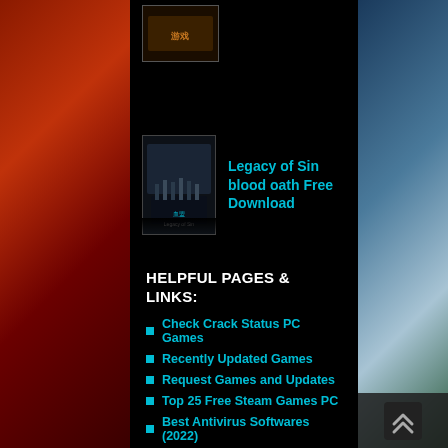[Figure (screenshot): Game thumbnail image at top left of panel]
Legacy of Sin blood oath Free Download
HELPFUL PAGES & LINKS:
Check Crack Status PC Games
Recently Updated Games
Request Games and Updates
Top 25 Free Steam Games PC
Best Antivirus Softwares (2022)
Best Gaming Laptops (2022)